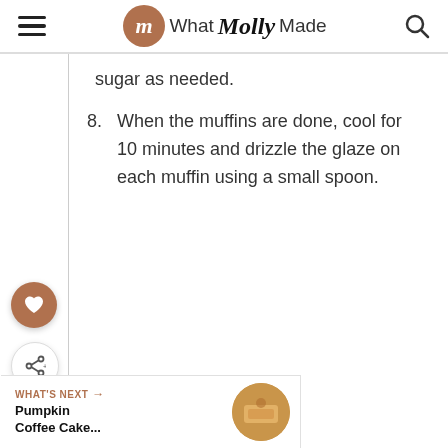What Molly Made
sugar as needed.
8. When the muffins are done, cool for 10 minutes and drizzle the glaze on each muffin using a small spoon.
WHAT'S NEXT → Pumpkin Coffee Cake...